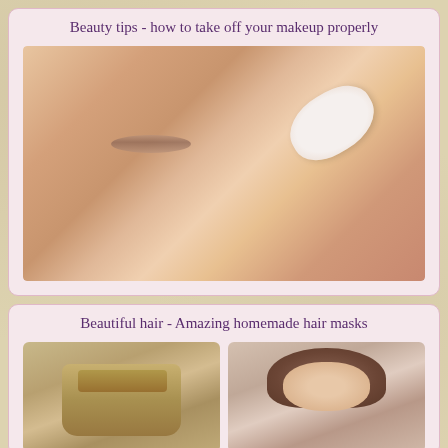Beauty tips - how to take off your makeup properly
[Figure (photo): Close-up photo of a woman removing eye makeup with a cotton pad]
Beautiful hair - Amazing homemade hair masks
[Figure (photo): Two photos side by side: left shows a woven/burlap gift bag, right shows a smiling woman with dark wavy hair]